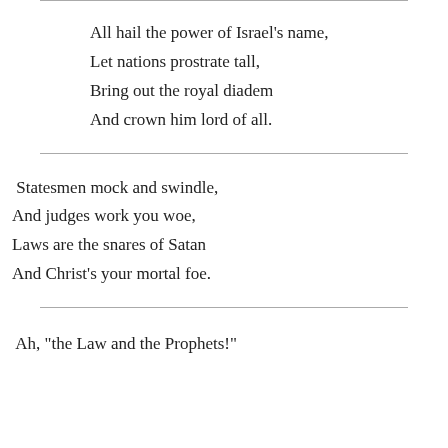All hail the power of Israel's name,
Let nations prostrate tall,
Bring out the royal diadem
And crown him lord of all.
Statesmen mock and swindle,
And judges work you woe,
Laws are the snares of Satan
And Christ's your mortal foe.
Ah, "the Law and the Prophets!"